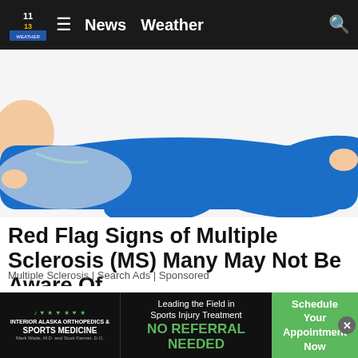News  Weather
[Figure (illustration): Cartoon illustration of a person in a blue outfit lying on their side on a white surface, viewed from behind/above]
Red Flag Signs of Multiple Sclerosis (MS) Many May Not Be Aware Of
Multiple Sclerosis | Search Ads | Sponsored
[Figure (illustration): Cartoon illustration of a person's head and upper body, viewed from above, with brown hair]
[Figure (advertisement): Interior Alaska Orthopedics & Sports Medicine ad: Leading the Field in Sports Injury Treatment NO REFERRAL NEEDED — Schedule Your Appointment Now]